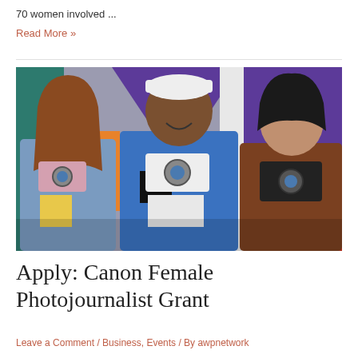70 women involved ...
Read More »
[Figure (photo): Three young people standing in front of a colorful mural wall, each holding a camera up toward the viewer. Left: young woman in denim jacket holding a pink camera. Center: young man in blue jacket and white cap holding a white camera. Right: young man in brown leather jacket holding a black camera.]
Apply: Canon Female Photojournalist Grant
Leave a Comment / Business, Events / By awpnetwork